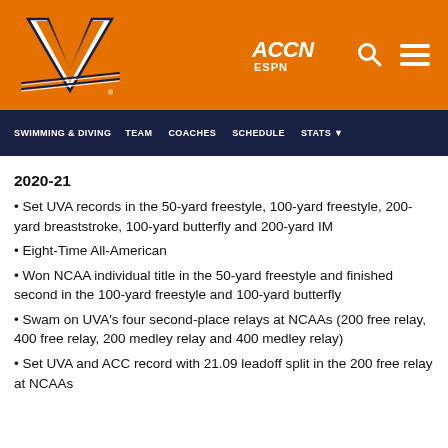UVA Swimming & Diving - Virginia Cavaliers
SWIMMING & DIVING  TEAM  COACHES  SCHEDULE  STATS
2020-21
Set UVA records in the 50-yard freestyle, 100-yard freestyle, 200-yard breaststroke, 100-yard butterfly and 200-yard IM
Eight-Time All-American
Won NCAA individual title in the 50-yard freestyle and finished second in the 100-yard freestyle and 100-yard butterfly
Swam on UVA's four second-place relays at NCAAs (200 free relay, 400 free relay, 200 medley relay and 400 medley relay)
Set UVA and ACC record with 21.09 leadoff split in the 200 free relay at NCAAs